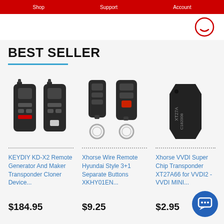BEST SELLER (e-commerce navigation bar)
BEST SELLER
[Figure (photo): KEYDIY KD-X2 Remote Generator And Maker Transponder Cloner Device product photo showing two black remote key devices]
KEYDIY KD-X2 Remote Generator And Maker Transponder Cloner Device...
$184.95
[Figure (photo): Xhorse Wire Remote Hyundai Style 3+1 Separate Buttons XKHY01EN product photo showing two black car remote keys on a keyring]
Xhorse Wire Remote Hyundai Style 3+1 Separate Buttons XKHY01EN...
$9.25
[Figure (photo): Xhorse VVDI Super Chip Transponder XT27A66 for VVDI2 - VVDI MINI product photo showing a small dark chip with XT27A C182008 text]
Xhorse VVDI Super Chip Transponder XT27A66 for VVDI2 - VVDI MINI...
$2.95